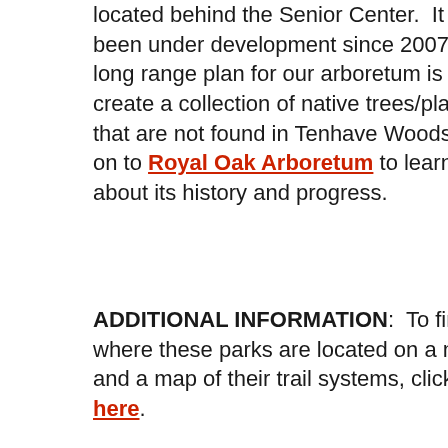located behind the Senior Center.  It has been under development since 2007.  The long range plan for our arboretum is to create a collection of native trees/plants that are not found in Tenhave Woods.  Link on to Royal Oak Arboretum to learn about its history and progress.
ADDITIONAL INFORMATION:  To find out where these parks are located on a map and a map of their trail systems, click here.